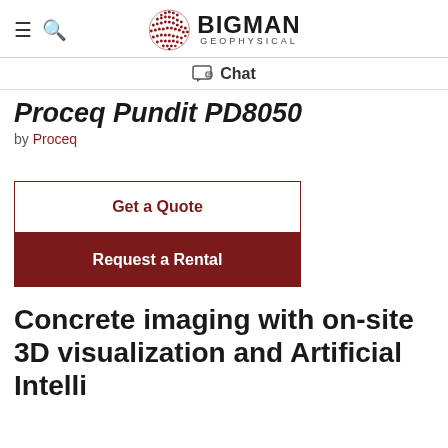BIGMAN GEOPHYSICAL
Chat
Proceq Pundit PD8050
by Proceq
Get a Quote
Request a Rental
Concrete imaging with on-site 3D visualization and Artificial Intelligence